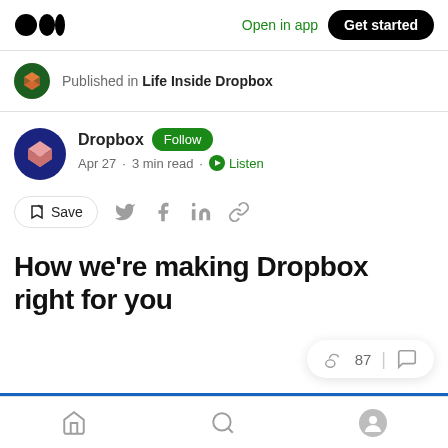Open in app | Get started
Published in Life Inside Dropbox
Dropbox Follow
Apr 27 · 3 min read · Listen
Save (share icons)
How we're making Dropbox right for you